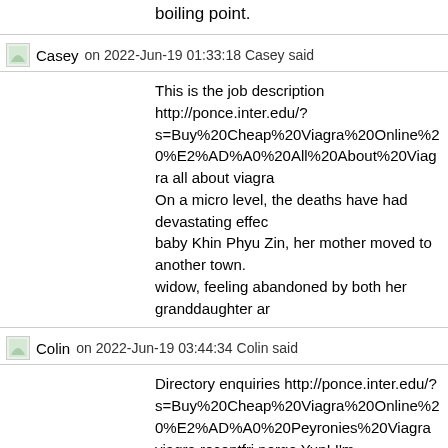boiling point.
Casey on 2022-Jun-19 01:33:18 Casey said
This is the job description http://ponce.inter.edu/?s=Buy%20Cheap%20Viagra%20Online%20%E2%AD%A0%20All%20About%20Viagra all about viagra On a micro level, the deaths have had devastating effects. After losing baby Khin Phyu Zin, her mother moved to another town. The grandmother, a widow, feeling abandoned by both her granddaughter and
Colin on 2022-Jun-19 03:44:34 Colin said
Directory enquiries http://ponce.inter.edu/?s=Buy%20Cheap%20Viagra%20Online%20%E2%AD%A0%20Peyronies%20Viagra viagra receptfri norge Yup! I'm went with them because I refused to tie myself to a contract. Unlimited data (I knew there was SOME limit) sounded great. I wo average. And like I said, near the end of the year I was w in a row continuously, even overlapping bill payments w go **** themselves (self-censored) and close my accour